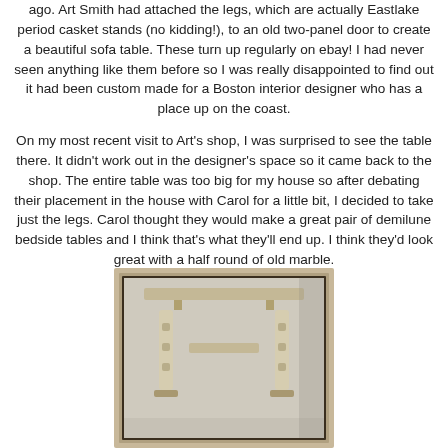ago. Art Smith had attached the legs, which are actually Eastlake period casket stands (no kidding!), to an old two-panel door to create a beautiful sofa table. These turn up regularly on ebay! I had never seen anything like them before so I was really disappointed to find out it had been custom made for a Boston interior designer who has a place up on the coast.

On my most recent visit to Art's shop, I was surprised to see the table there. It didn't work out in the designer's space so it came back to the shop. The entire table was too big for my house so after debating their placement in the house with Carol for a little bit, I decided to take just the legs. Carol thought they would make a great pair of demilune bedside tables and I think that's what they'll end up. I think they'd look great with a half round of old marble.
[Figure (photo): Photo of antique table legs (Eastlake period casket stands) attached to a panel, displayed inside a wooden picture frame against a light background.]